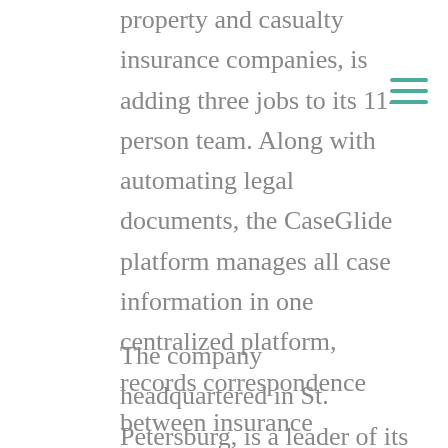property and casualty insurance companies, is adding three jobs to its 11-person team. Along with automating legal documents, the CaseGlide platform manages all case information in one centralized platform, records correspondence between insurance companies and the lawyers handling their cases and delivers business intelligence.
The company headquartered in St. Petersburg, is a leader of its kind and has revolutionized the business